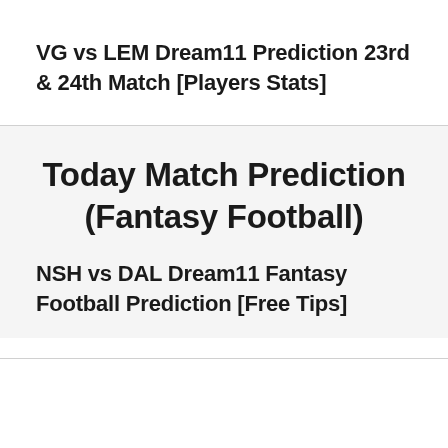VG vs LEM Dream11 Prediction 23rd & 24th Match [Players Stats]
Today Match Prediction (Fantasy Football)
NSH vs DAL Dream11 Fantasy Football Prediction [Free Tips]